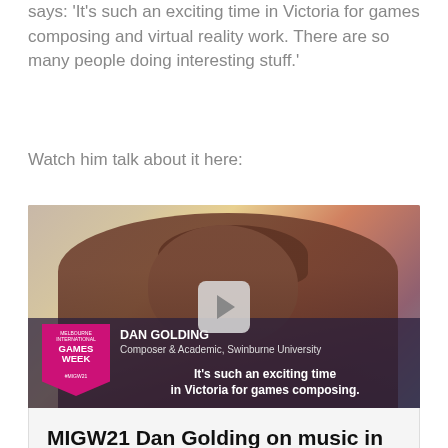says: 'It's such an exciting time in Victoria for games composing and virtual reality work. There are so many people doing interesting stuff.'
Watch him talk about it here:
[Figure (screenshot): Video thumbnail showing Dan Golding, Composer & Academic at Swinburne University, with a Melbourne International Games Week (MIGW21) overlay. Subtitle reads: 'It's such an exciting time in Victoria for games composing.' A semi-transparent play button is visible in the center.]
MIGW21 Dan Golding on music in games